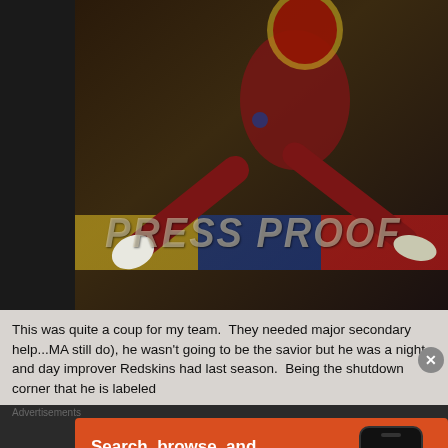[Figure (photo): A football player in red uniform (Washington Redskins) on a trading card with 'PRESS PROOF' watermark text overlaid diagonally. The card shows a player in action, diving or making a play. The left side of the image is dark/black.]
This was quite a coup for my team.  They needed major secondary help...MA still do), he wasn't going to be the savior but he was a night and day improver Redskins had last season.  Being the shutdown corner that he is labeled
Advertisements
[Figure (screenshot): DuckDuckGo advertisement banner with orange background. Text reads 'Search, browse, and email with more privacy.' with 'All in One Free App' button and DuckDuckGo logo on a phone mockup.]